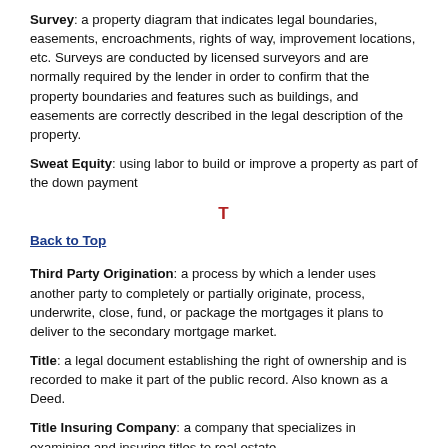Survey: a property diagram that indicates legal boundaries, easements, encroachments, rights of way, improvement locations, etc. Surveys are conducted by licensed surveyors and are normally required by the lender in order to confirm that the property boundaries and features such as buildings, and easements are correctly described in the legal description of the property.
Sweat Equity: using labor to build or improve a property as part of the down payment
T
Back to Top
Third Party Origination: a process by which a lender uses another party to completely or partially originate, process, underwrite, close, fund, or package the mortgages it plans to deliver to the secondary mortgage market.
Title: a legal document establishing the right of ownership and is recorded to make it part of the public record. Also known as a Deed.
Title Insuring Company: a company that specializes in examining and insuring titles to real estate.
Title Defect: an outstanding claim on a property that limits the